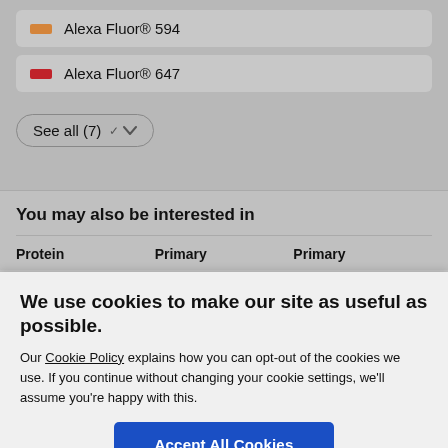Alexa Fluor® 594
Alexa Fluor® 647
See all (7)
You may also be interested in
| Protein | Primary | Primary |
| --- | --- | --- |
We use cookies to make our site as useful as possible.
Our Cookie Policy explains how you can opt-out of the cookies we use. If you continue without changing your cookie settings, we'll assume you're happy with this.
Accept All Cookies